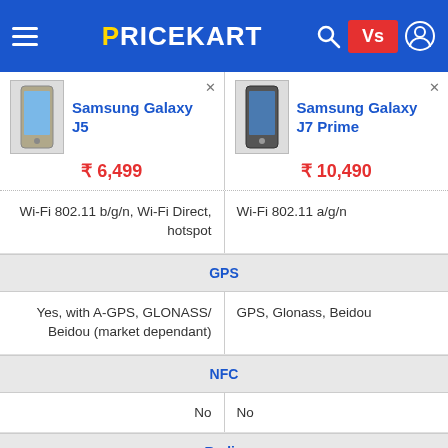PRICEKART - Product comparison page header
| Samsung Galaxy J5 | Samsung Galaxy J7 Prime |
| --- | --- |
| ₹6,499 | ₹10,490 |
| Wi-Fi 802.11 b/g/n, Wi-Fi Direct, hotspot | Wi-Fi 802.11 a/g/n |
| GPS | GPS |
| Yes, with A-GPS, GLONASS/ Beidou (market dependant) | GPS, Glonass, Beidou |
| NFC | NFC |
| No | No |
| Radio | Radio |
| Yes | Yes |
| Battery Capacity | Battery Capacity |